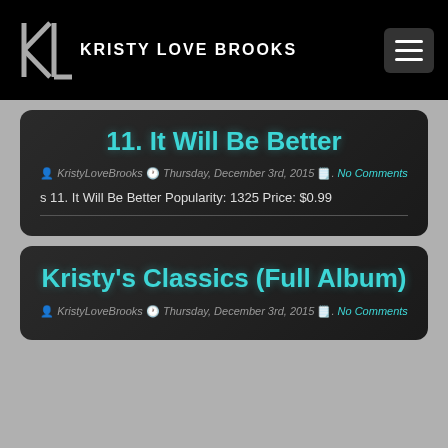KRISTY LOVE BROOKS
11. It Will Be Better
KristyLoveBrooks  Thursday, December 3rd, 2015 . No Comments
s 11. It Will Be Better Popularity: 1325 Price: $0.99
Kristy's Classics (Full Album)
KristyLoveBrooks  Thursday, December 3rd, 2015 . No Comments